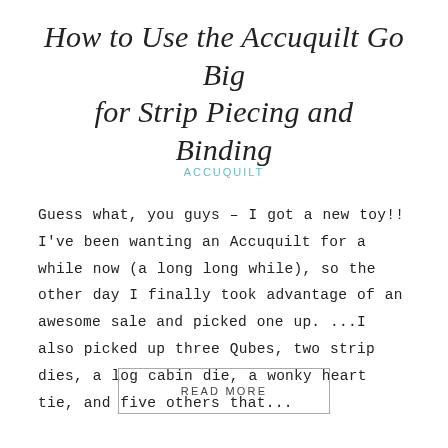How to Use the Accuquilt Go Big for Strip Piecing and Binding
ACCUQUILT
Guess what, you guys – I got a new toy!! I've been wanting an Accuquilt for a while now (a long long while), so the other day I finally took advantage of an awesome sale and picked one up. ...I also picked up three Qubes, two strip dies, a log cabin die, a wonky heart tie, and five others that...
READ MORE